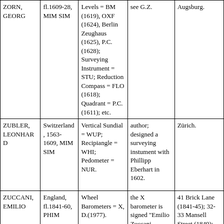| Name | Country/Dates/Type | Instruments/Works | Notes | Location |
| --- | --- | --- | --- | --- |
| ZORN, GEORG | fl.1609-28, MIM SIM | Levels = BM (1619), OXF (1624), Berlin Zeughaus (1625), P.C. (1628); Surveying Instrument = STU; Reduction Compass = FLO (1618); Quadrant = P.C. (1611); etc. | see G.Z. | Augsburg. |
| ZUBLER, LEONHARD | Switzerland, 1563-1609, MIM SIM | Vertical Sundial = WUP; Recipiangle = WHI; Pedometer = NUR. | author; designed a surveying instument with Phillipp Eberhart in 1602. | Zürich. |
| ZUCCANI, EMILIO | England, fl.1841-60, PHIM | Wheel Barometers = X, D.(1977). | the X barometer is signed "Emilio Zuccani London." | 41 Brick Lane (1841-45); 32-33 Mansell Street (1849); 17 Mansell Street (1851-60); all in London. |